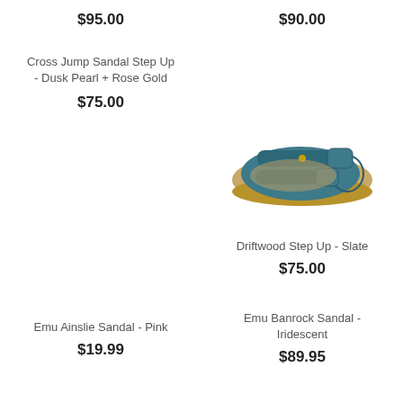$95.00
$90.00
Cross Jump Sandal Step Up - Dusk Pearl + Rose Gold
$75.00
[Figure (photo): Teal/slate children's sandal with velcro straps and tan rubber sole]
Driftwood Step Up - Slate
$75.00
Emu Ainslie Sandal - Pink
$19.99
Emu Banrock Sandal - Iridescent
$89.95